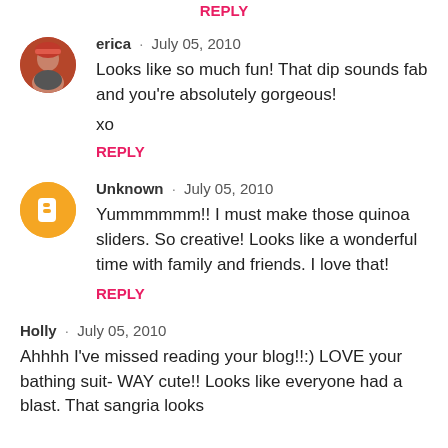REPLY
erica · July 05, 2010
Looks like so much fun! That dip sounds fab and you're absolutely gorgeous!
xo
REPLY
Unknown · July 05, 2010
Yummmmmm!! I must make those quinoa sliders. So creative! Looks like a wonderful time with family and friends. I love that!
REPLY
Holly · July 05, 2010
Ahhhh I've missed reading your blog!!:) LOVE your bathing suit- WAY cute!! Looks like everyone had a blast. That sangria looks